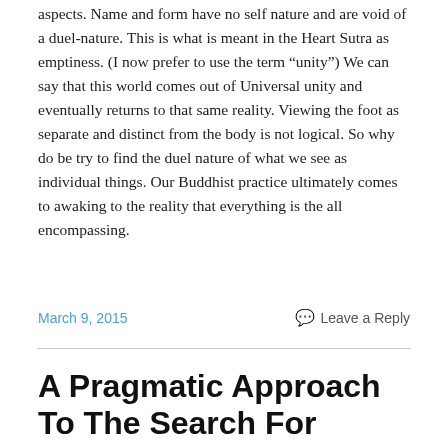aspects. Name and form have no self nature and are void of a duel-nature. This is what is meant in the Heart Sutra as emptiness. (I now prefer to use the term “unity”) We can say that this world comes out of Universal unity and eventually returns to that same reality. Viewing the foot as separate and distinct from the body is not logical. So why do be try to find the duel nature of what we see as individual things. Our Buddhist practice ultimately comes to awaking to the reality that everything is the all encompassing.
March 9, 2015
Leave a Reply
A Pragmatic Approach To The Search For Reality